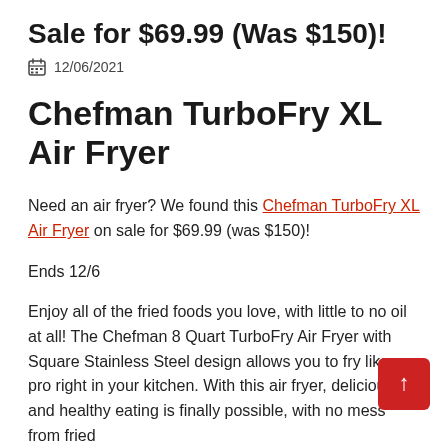Sale for $69.99 (Was $150)!
12/06/2021
Chefman TurboFry XL Air Fryer
Need an air fryer? We found this Chefman TurboFry XL Air Fryer on sale for $69.99 (was $150)!
Ends 12/6
Enjoy all of the fried foods you love, with little to no oil at all! The Chefman 8 Quart TurboFry Air Fryer with Square Stainless Steel design allows you to fry like a pro right in your kitchen. With this air fryer, delicious and healthy eating is finally possible, with no mess from fried